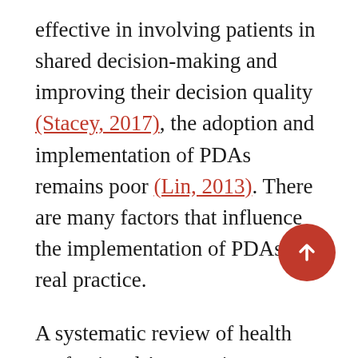effective in involving patients in shared decision-making and improving their decision quality (Stacey, 2017), the adoption and implementation of PDAs remains poor (Lin, 2013). There are many factors that influence the implementation of PDAs in real practice.
A systematic review of health professionals' perceptions highlighted that the most often reported barriers for implementing PDAs were time constraints, lack of applicability due to patient characteristics and the clinical situation (Légaré, 2008). In terms of attitudes and roles, some clinicians find the